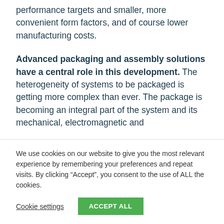performance targets and smaller, more convenient form factors, and of course lower manufacturing costs.
Advanced packaging and assembly solutions have a central role in this development. The heterogeneity of systems to be packaged is getting more complex than ever. The package is becoming an integral part of the system and its mechanical, electromagnetic and
We use cookies on our website to give you the most relevant experience by remembering your preferences and repeat visits. By clicking “Accept”, you consent to the use of ALL the cookies.
Cookie settings
ACCEPT ALL